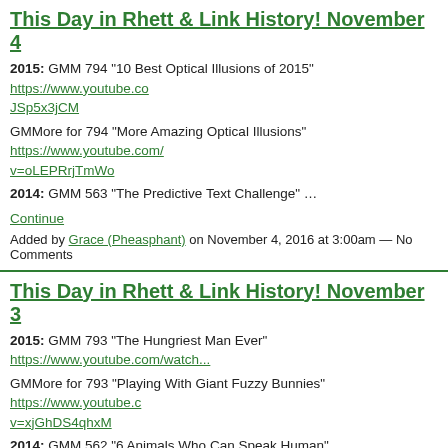This Day in Rhett & Link History! November 4
2015: GMM 794 "10 Best Optical Illusions of 2015" https://www.youtube.co...JSp5x3jCM
GMMore for 794 "More Amazing Optical Illusions" https://www.youtube.com/...v=oLEPRrjTmWo
2014: GMM 563 "The Predictive Text Challenge" …
Continue
Added by Grace (Pheasphant) on November 4, 2016 at 3:00am — No Comments
This Day in Rhett & Link History! November 3
2015: GMM 793 "The Hungriest Man Ever" https://www.youtube.com/watch...
GMMore for 793 "Playing With Giant Fuzzy Bunnies" https://www.youtube.c...v=xjGhDS4qhxM
2014: GMM 562 "6 Animals Who Can Speak Human" …
Continue
Added by Grace (Pheasphant) on November 3, 2016 at 3:00am — 2 Comments
This Day in Rhett & Link History! November 2
2015: GMM 792 "Weirdest Video Games From Japan (GAME)" https://www.youtube.com/watch?v=_fFYFSD25JY
GMMore for 792 "Let's Play: Muscle March" https://www.youtube.com/watc...